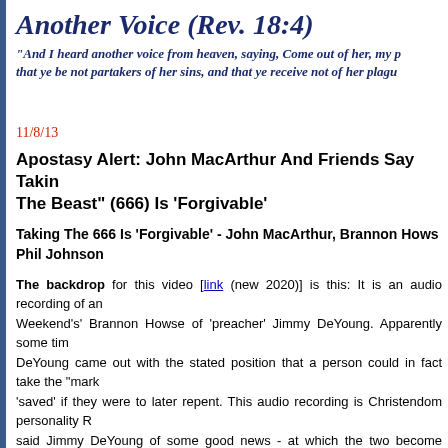Another Voice (Rev. 18:4)
"And I heard another voice from heaven, saying, Come out of her, my p... that ye be not partakers of her sins, and that ye receive not of her plagu...
11/8/13
Apostasy Alert: John MacArthur And Friends Say Takin... The Beast" (666) Is 'Forgivable'
Taking The 666 Is 'Forgivable' - John MacArthur, Brannon Hows... Phil Johnson
The backdrop for this video [link (new 2020)] is this: It is an audio recording of an... Weekend's' Brannon Howse of 'preacher' Jimmy DeYoung. Apparently some tim... DeYoung came out with the stated position that a person could in fact take the "mark... 'saved' if they were to later repent. This audio recording is Christendom personality R... said Jimmy DeYoung of some good news - at which the two become somewhat gid... known and generally widely respected bible teacher John MacArthur (this will be r... MacArthur's globalist connections are known and documented - research wi... exact same position a few years back - and has never retracted it:
[2:20] Audience questioner: "Once a person takes the mark, is there any...